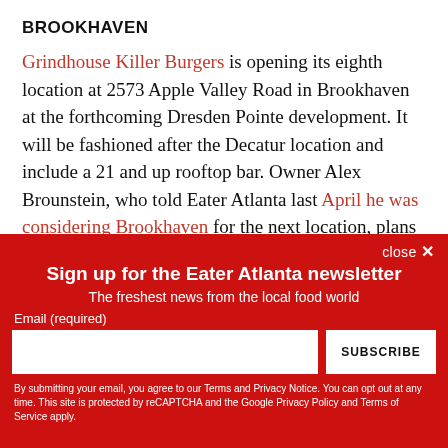BROOKHAVEN
Grindhouse Killer Burgers is opening its eighth location at 2573 Apple Valley Road in Brookhaven at the forthcoming Dresden Pointe development. It will be fashioned after the Decatur location and include a 21 and up rooftop bar. Owner Alex Brounstein, who told Eater Atlanta last April he was considering Brookhaven for the next location, plans to
close ×
Sign up for the Eater Atlanta newsletter
The freshest news from the local food world
Email (required)
SUBSCRIBE
By submitting your email, you agree to our Terms and Privacy Notice. You can opt out at any time. This site is protected by reCAPTCHA and the Google Privacy Policy and Terms of Service apply.